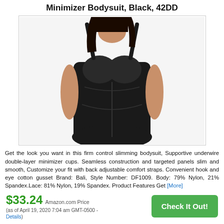Minimizer Bodysuit, Black, 42DD
[Figure (photo): A woman wearing a black minimizer bodysuit shapewear garment, shown from shoulders to upper thighs against a white background.]
Get the look you want in this firm control slimming bodysuit, Supportive underwire double-layer minimizer cups. Seamless construction and targeted panels slim and smooth, Customize your fit with back adjustable comfort straps. Convenient hook and eye cotton gusset Brand: Bali, Style Number: DF1009. Body: 79% Nylon, 21% Spandex.Lace: 81% Nylon, 19% Spandex. Product Features Get [More]
$33.24 Amazon.com Price (as of April 19, 2020 7:04 am GMT-0500 - Details)